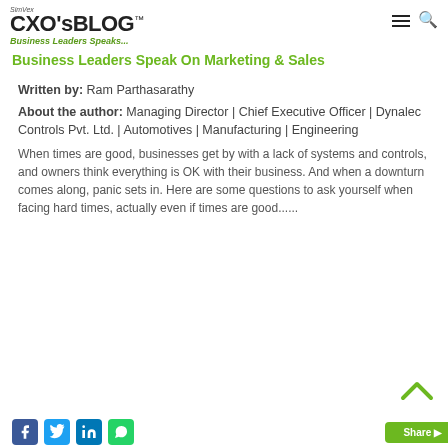CXO'sBLOG™ — Business Leaders Speak (logo/header)
Business Leaders Speak On Marketing & Sales
Written by: Ram Parthasarathy
About the author: Managing Director | Chief Executive Officer | Dynalec Controls Pvt. Ltd. | Automotives | Manufacturing | Engineering
When times are good, businesses get by with a lack of systems and controls, and owners think everything is OK with their business. And when a downturn comes along, panic sets in. Here are some questions to ask yourself when facing hard times, actually even if times are good......